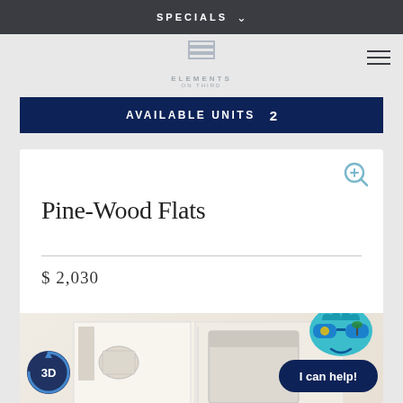SPECIALS
[Figure (logo): Elements on Third logo with stacked lines icon and text]
AVAILABLE UNITS  2
Pine-Wood Flats
$ 2,030
[Figure (photo): Top-down 3D floor plan rendering of an apartment unit with rooms visible including kitchen, living area and bedroom]